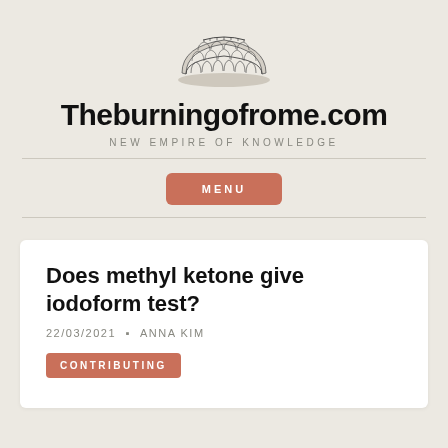[Figure (illustration): Sketch illustration of the Colosseum in Rome, black and white drawing style]
Theburningofrome.com
NEW EMPIRE OF KNOWLEDGE
MENU
Does methyl ketone give iodoform test?
22/03/2021 • ANNA KIM
CONTRIBUTING